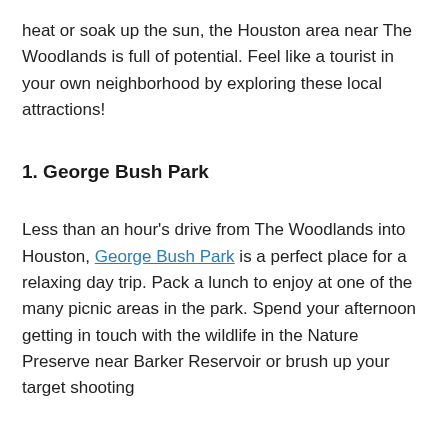heat or soak up the sun, the Houston area near The Woodlands is full of potential. Feel like a tourist in your own neighborhood by exploring these local attractions!
1. George Bush Park
Less than an hour's drive from The Woodlands into Houston, George Bush Park is a perfect place for a relaxing day trip. Pack a lunch to enjoy at one of the many picnic areas in the park. Spend your afternoon getting in touch with the wildlife in the Nature Preserve near Barker Reservoir or brush up your target shooting